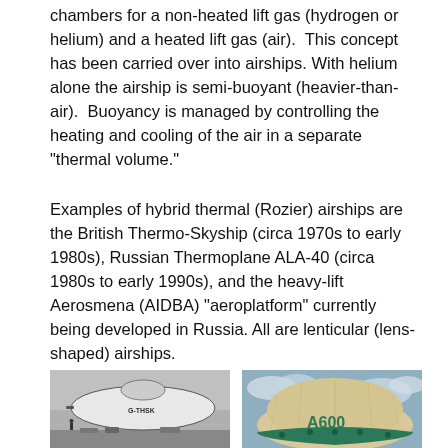chambers for a non-heated lift gas (hydrogen or helium) and a heated lift gas (air).  This concept has been carried over into airships. With helium alone the airship is semi-buoyant (heavier-than-air).  Buoyancy is managed by controlling the heating and cooling of the air in a separate “thermal volume.”
Examples of hybrid thermal (Rozier) airships are the British Thermo-Skyship (circa 1970s to early 1980s), Russian Thermoplane ALA-40 (circa 1980s to early 1990s), and the heavy-lift Aerosmena (AIDBA) “aeroplatform” currently being developed in Russia. All are lenticular (lens-shaped) airships.
[Figure (photo): Black and white photograph of a lenticular airship on the ground, showing the Thermo-Skyship with registration markings visible.]
[Figure (photo): Color photograph of a green and beige lenticular airship against a cloudy sky, with 'A600' printed on its side in green letters.]